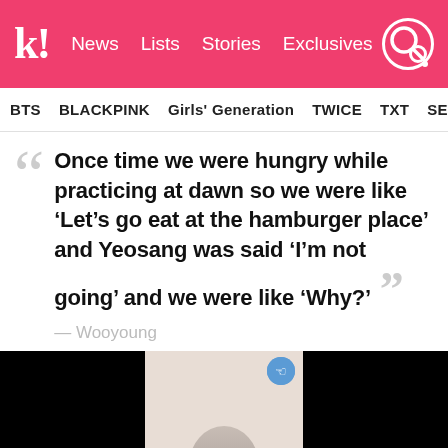k! News Lists Stories Exclusives
BTS BLACKPINK Girls' Generation TWICE TXT SEVE
Once time we were hungry while practicing at dawn so we were like ‘Let’s go eat at the hamburger place’ and Yeosang was said ‘I’m not going’ and we were like ‘Why?’ — Wooyoung
[Figure (screenshot): Embedded video screenshot with black bars on left and right sides and a light-colored background in the center showing a partial view of a person or object.]